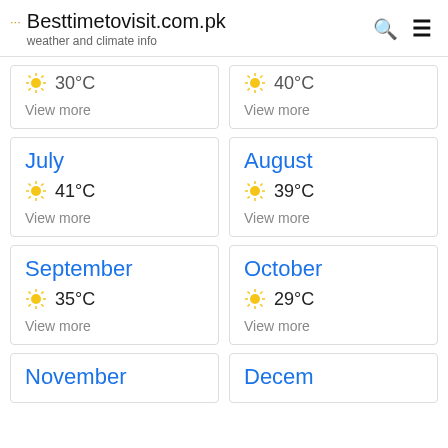Besttimetovisit.com.pk — weather and climate info
☀ 30°C / View more (partial top card left)
☀ 40°C / View more (partial top card right)
July — ☀ 41°C — View more
August — ☀ 39°C — View more
September — ☀ 35°C — View more
October — ☀ 29°C — View more
November (partial bottom left)
December (partial bottom right)